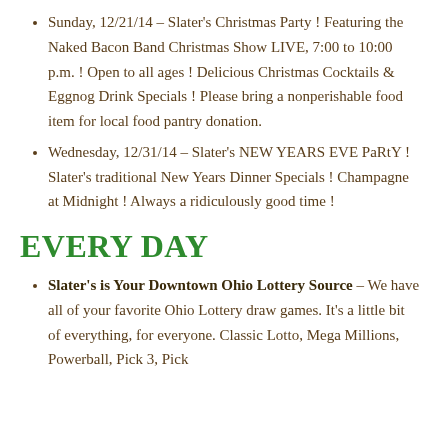Sunday, 12/21/14 – Slater's Christmas Party ! Featuring the Naked Bacon Band Christmas Show LIVE, 7:00 to 10:00 p.m. ! Open to all ages ! Delicious Christmas Cocktails & Eggnog Drink Specials ! Please bring a nonperishable food item for local food pantry donation.
Wednesday, 12/31/14 – Slater's NEW YEARS EVE PaRtY ! Slater's traditional New Years Dinner Specials ! Champagne at Midnight ! Always a ridiculously good time !
EVERY DAY
Slater's is Your Downtown Ohio Lottery Source – We have all of your favorite Ohio Lottery draw games. It's a little bit of everything, for everyone. Classic Lotto, Mega Millions, Powerball, Pick 3, Pick